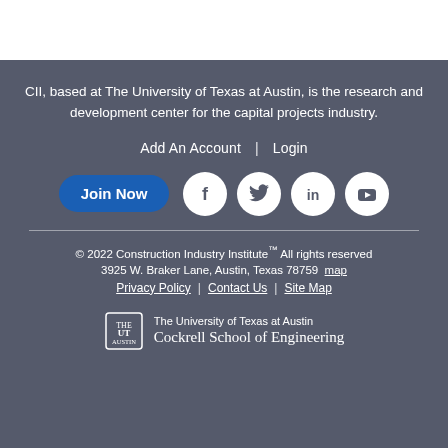CII, based at The University of Texas at Austin, is the research and development center for the capital projects industry.
Add An Account  |  Login
[Figure (other): Join Now button and social media icons: Facebook, Twitter, LinkedIn, YouTube]
© 2022 Construction Industry Institute™ All rights reserved
3925 W. Braker Lane, Austin, Texas 78759  map
Privacy Policy  |  Contact Us  |  Site Map
[Figure (logo): The University of Texas at Austin Cockrell School of Engineering logo]